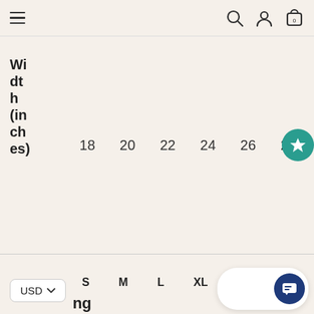Navigation bar with hamburger menu, search, user, and cart icons
| Width (inches) | 18 | 20 | 22 | 24 | 26 | 28 |
| --- | --- | --- | --- | --- | --- | --- |
|  | S | M | L | XL | 2XL | 3XL |
| --- | --- | --- | --- | --- | --- | --- |
USD ▼   ng